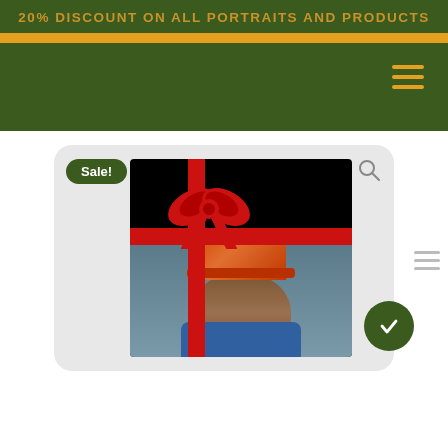20% DISCOUNT ON ALL PORTRAITS AND PRODUCTS
[Figure (screenshot): Website screenshot showing a pet portrait e-commerce page. Dark green header with orange text reading '20% DISCOUNT ON ALL PORTRAITS AND PRODUCTS', an orange bar, a hamburger menu icon in orange on dark green nav. Below is a product card on light gray background showing a dog wearing a Paddington Bear hat and blue coat with a red ribbon/bow overlay, a green 'Sale!' badge, a search icon, and a partially visible green edit button.]